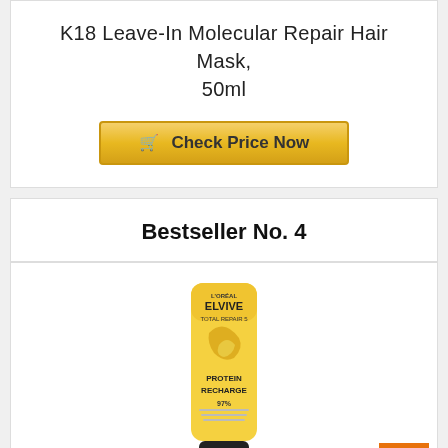K18 Leave-In Molecular Repair Hair Mask, 50ml
Check Price Now
Bestseller No. 4
[Figure (photo): L'Oreal Elvive Total Repair 5 Protein Recharge yellow tube product photo]